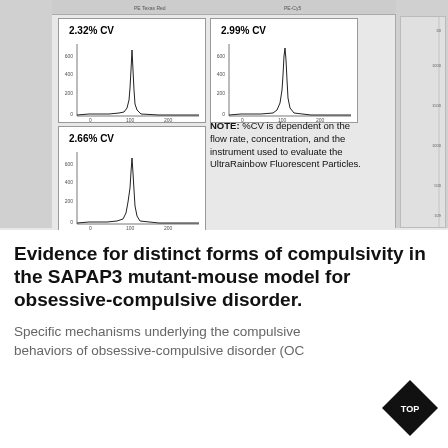[Figure (continuous-plot): Three flow cytometry histogram plots showing fluorescence intensity peaks labeled 2.32% CV, 2.99% CV, and 2.66% CV, with a NOTE explaining %CV dependence on flow rate, concentration, and instrument used for UltraRainbow Fluorescent Particles. A partial fourth plot strip is visible on the right edge.]
Evidence for distinct forms of compulsivity in the SAPAP3 mutant-mouse model for obsessive-compulsive disorder.
Specific mechanisms underlying the compulsive behaviors of obsessive-compulsive disorder (OC